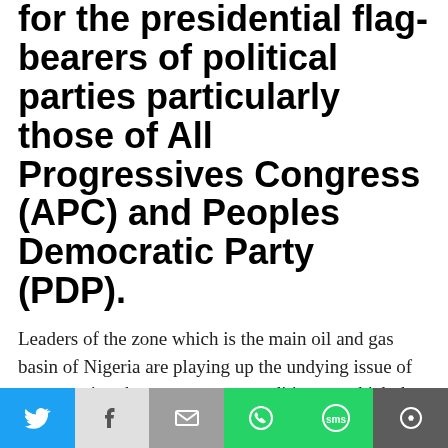for the presidential flag-bearers of political parties particularly those of All Progressives Congress (APC) and Peoples Democratic Party (PDP).
Leaders of the zone which is the main oil and gas basin of Nigeria are playing up the undying issue of restructuring the country as a condition on which the region will massively back aspirants seeking to succeed President Muhammadu Buhari.
Civil rights activist, Karl Uchegbu, told Naija News on telephone this Monday that social formatio...